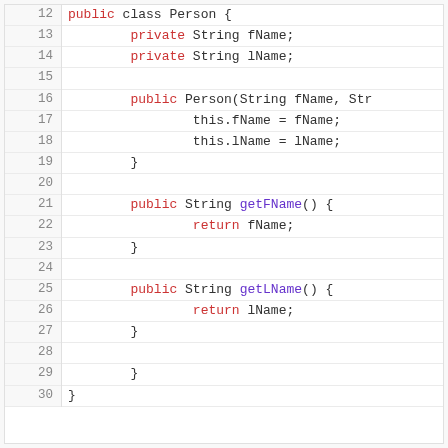[Figure (screenshot): Java source code snippet showing a Person class with fields fName and lName, a constructor, and getter methods getFName() and getLName(). Line numbers 12-30 are displayed on the left.]